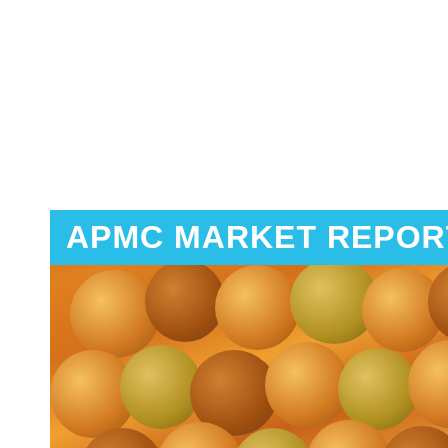[Figure (photo): Cover image for APMC Market Report showing a large pile of orange/yellow round fruits (areca nuts / betel nuts) with a blue banner overlay at the top reading 'APMC MARKET REPORT' in bold white text.]